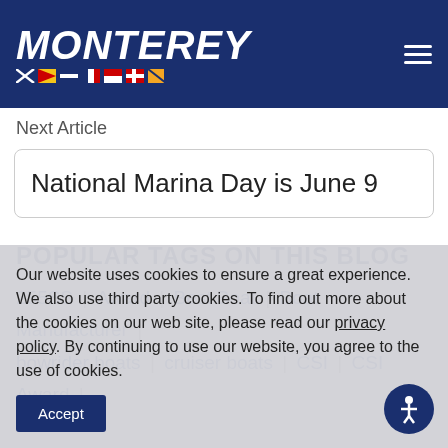MONTEREY
Next Article
National Marina Day is June 9
POPULAR TAGS ON THIS BLOG
255SS | Award | Best Boat | Boat Manufacturer | bowrider boats | cruiser boats | CSI | CSI Award |
Our website uses cookies to ensure a great experience. We also use third party cookies. To find out more about the cookies on our web site, please read our privacy policy. By continuing to use our website, you agree to the use of cookies.